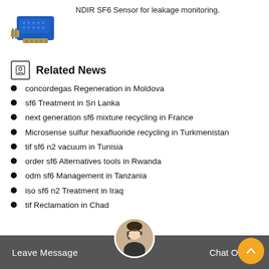[Figure (photo): Blue and gold NDIR SF6 sensor module product photo]
NDIR SF6 Sensor for leakage monitoring.
Related News
concordegas Regeneration in Moldova
sf6 Treatment in Sri Lanka
next generation sf6 mixture recycling in France
Microsense sulfur hexafluoride recycling in Turkmenistan
tif sf6 n2 vacuum in Tunisia
order sf6 Alternatives tools in Rwanda
odm sf6 Management in Tanzania
iso sf6 n2 Treatment in Iraq
tif Reclamation in Chad
Leave Message   Chat Online